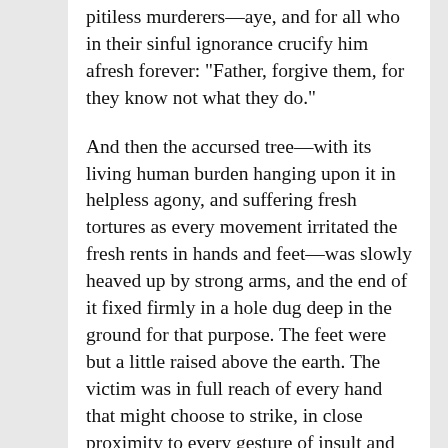pitiless murderers—aye, and for all who in their sinful ignorance crucify him afresh forever: "Father, forgive them, for they know not what they do."
And then the accursed tree—with its living human burden hanging upon it in helpless agony, and suffering fresh tortures as every movement irritated the fresh rents in hands and feet—was slowly heaved up by strong arms, and the end of it fixed firmly in a hole dug deep in the ground for that purpose. The feet were but a little raised above the earth. The victim was in full reach of every hand that might choose to strike, in close proximity to every gesture of insult and hatred. He might hang for hours to be abused, outraged, even tortured by the ever-moving multitude who, with that desir